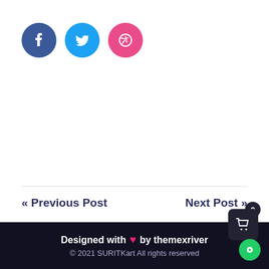[Figure (illustration): Three social media icon circles: Facebook (dark blue), Twitter (light blue), Dribbble (pink/magenta)]
« Previous Post
Next Post »
Designed with ❤ by themexriver © 2021 SURITKart All rights reserved